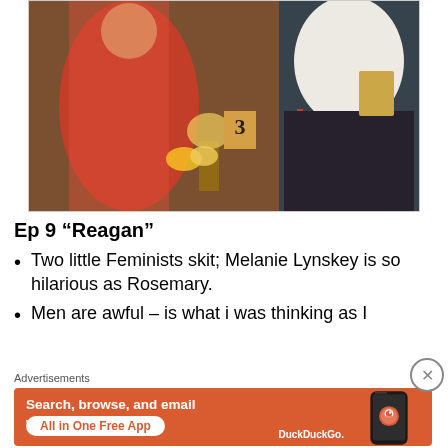[Figure (photo): Two women standing at what appears to be an indoor event or auction. One woman on the left wears a red dress, another on the right wears a white top with a dark skirt with red ribbon. A number '3' table card and yellow flowers are visible in background.]
Ep 9 “Reagan”
Two little Feminists skit; Melanie Lynskey is so hilarious as Rosemary.
Men are awful – is what i was thinking as I
Advertisements
[Figure (infographic): DuckDuckGo advertisement banner. Orange background with text: Search, browse, and email with more privacy. All in One Free App. Shows a phone with DuckDuckGo app and DuckDuckGo logo.]